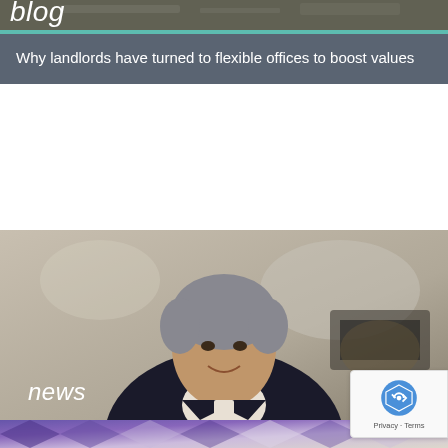[Figure (photo): Blog card with dark photo background showing desk/office scene, with 'blog' label overlay and teal accent bar]
Why landlords have turned to flexible offices to boost values
[Figure (photo): News card with photo of a smiling middle-aged man in dark suit jacket against blurred office background, with 'news' label overlay and purple accent bar]
Allsop Letting & Management names new CEO in a series of senior appointments
[Figure (photo): Partial view of a third card at the bottom with purple/geometric pattern image]